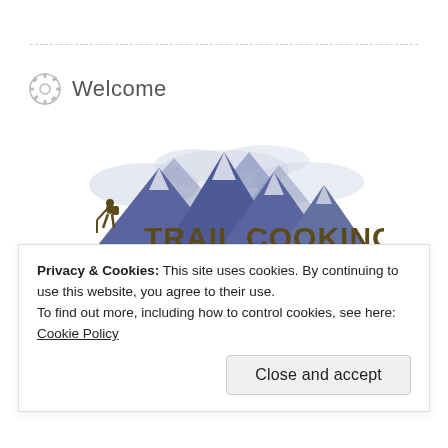Welcome
[Figure (logo): Trail Cooking logo with blue mountain peaks and silhouette of hiker, text reads TRAIL COOKING, FOOD • RECIPES • GEAR • TRIPS]
Privacy & Cookies: This site uses cookies. By continuing to use this website, you agree to their use.
To find out more, including how to control cookies, see here: Cookie Policy
Close and accept